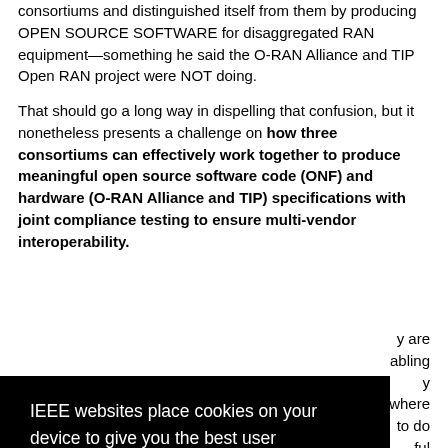consortiums and distinguished itself from them by producing OPEN SOURCE SOFTWARE for disaggregated RAN equipment—something he said the O-RAN Alliance and TIP Open RAN project were NOT doing.
That should go a long way in dispelling that confusion, but it nonetheless presents a challenge on how three consortiums can effectively work together to produce meaningful open source software code (ONF) and hardware (O-RAN Alliance and TIP) specifications with joint compliance testing to ensure multi-vendor interoperability.
[Figure (other): IEEE cookie consent overlay with black background. Text reads: 'IEEE websites place cookies on your device to give you the best user experience. By using our websites, you agree to the placement of these cookies. To learn more, read our Privacy Policy.' Below is a white button labeled 'Accept & Close'.]
y are abling y where to do ful
f a ng the G-LTE. ons with those entities either.